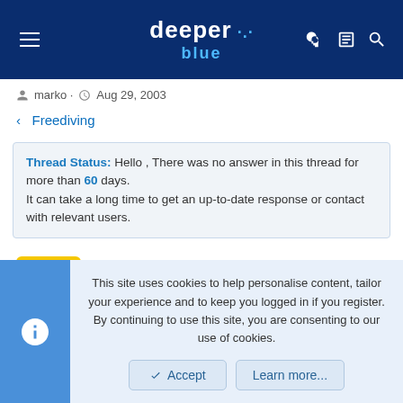deeper blue
marko · Aug 29, 2003
< Freediving
Thread Status: Hello , There was no answer in this thread for more than 60 days. It can take a long time to get an up-to-date response or contact with relevant users.
marko
New Member
This site uses cookies to help personalise content, tailor your experience and to keep you logged in if you register. By continuing to use this site, you are consenting to our use of cookies.